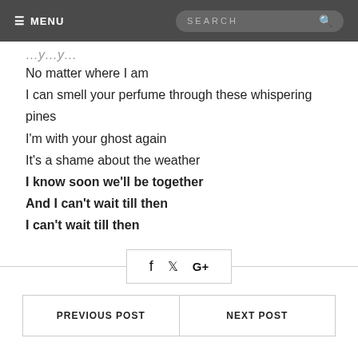≡ MENU   SEARCH
(clipped line — partial text visible)
No matter where I am
I can smell your perfume through these whispering pines
I'm with your ghost again
It's a shame about the weather
I know soon we'll be together
And I can't wait till then
I can't wait till then
[Figure (other): Social sharing icons row: Facebook, Twitter, Google+]
PREVIOUS POST   NEXT POST
YOU MAY ALSO LIKE